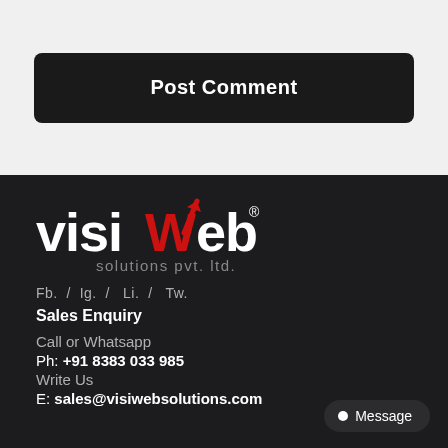Post Comment
[Figure (logo): VisiWeb Solutions Pvt. Ltd. logo with red checkmark/arrow on W letter]
Fb. / Ig. / Li. / Tw.
Sales Enquiry
Call or Whatsapp
Ph: +91 8383 033 985
Write Us
E: sales@visiwebsolutions.com
Message